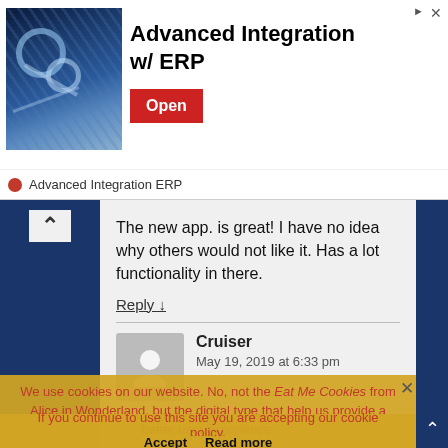[Figure (screenshot): Advertisement banner for 'Advanced Integration w/ ERP' with a blue industrial machinery image on the left, bold text in the center, and a red Open button on the right. Below shows the advertiser name 'Advanced Integration ERP'.]
The new app. is great! I have no idea why others would not like it. Has a lot functionality in there.
Reply ↓
Cruiser
May 19, 2019 at 6:33 pm
I preferred having the countdown clock as it was before, without having to have my phone signed into my account. I prefer the security of using my
Reply ↓
We use cookies on our website. No, not the Eat Me Cookies from Alice in Wonderland, but the digital type that help us provide a better user experience.
If you continue to use this site you are accepting our cookie policy.
Accept   Read more